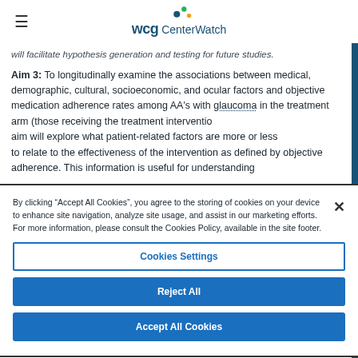WCG CenterWatch
will facilitate hypothesis generation and testing for future studies.
Aim 3: To longitudinally examine the associations between medical, demographic, cultural, socioeconomic, and ocular factors and objective medication adherence rates among AA's with glaucoma in the treatment arm (those receiving the treatment intervention). This aim will explore what patient-related factors are more or less likely to relate to the effectiveness of the intervention as defined by objective adherence. This information is useful for understanding
By clicking “Accept All Cookies”, you agree to the storing of cookies on your device to enhance site navigation, analyze site usage, and assist in our marketing efforts. For more information, please consult the Cookies Policy, available in the site footer.
Cookies Settings
Reject All
Accept All Cookies